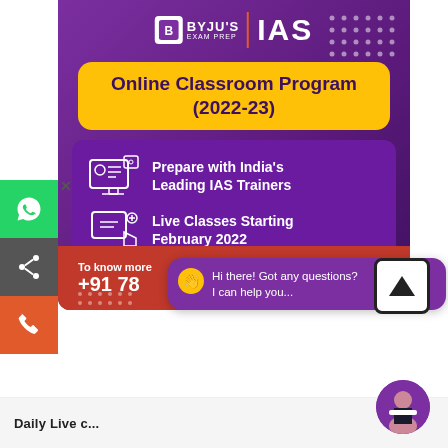[Figure (infographic): BYJU'S Exam Prep IAS advertisement banner. Purple gradient background with logo at top, yellow pill-shaped title 'Online Classroom Program (2022-23)', two feature rows with icons: 'Prepare with India's Leading IAS Trainers' and 'Live Classes Starting February 2022', red CTA bar with 'To know more +91 78...']
Hi there! Got any questions? I can help you...
To know more
+91 78